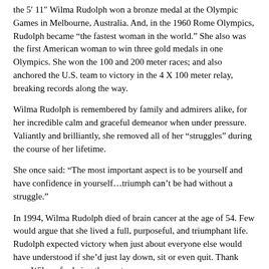the 5′ 11″ Wilma Rudolph won a bronze medal at the Olympic Games in Melbourne, Australia. And, in the 1960 Rome Olympics, Rudolph became “the fastest woman in the world.” She also was the first American woman to win three gold medals in one Olympics. She won the 100 and 200 meter races; and also anchored the U.S. team to victory in the 4 X 100 meter relay, breaking records along the way.
Wilma Rudolph is remembered by family and admirers alike, for her incredible calm and graceful demeanor when under pressure. Valiantly and brilliantly, she removed all of her “struggles” during the course of her lifetime.
She once said: “The most important aspect is to be yourself and have confidence in yourself…triumph can’t be had without a struggle.”
In 1994, Wilma Rudolph died of brain cancer at the age of 54. Few would argue that she lived a full, purposeful, and triumphant life. Rudolph expected victory when just about everyone else would have understood if she’d just lay down, sit or even quit. Thank you, Wilma, for being the contrary.